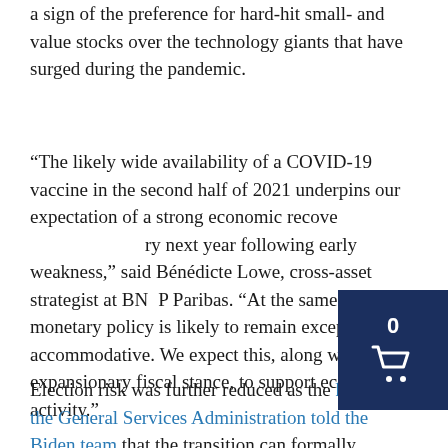a sign of the preference for hard-hit small- and value stocks over the technology giants that have surged during the pandemic.
“The likely wide availability of a COVID-19 vaccine in the second half of 2021 underpins our expectation of a strong economic recovery next year following early weakness,” said Bénédicte Lowe, cross-asset strategist at BNP Paribas. “At the same time, monetary policy is likely to remain exceptionally accommodative. We expect this, along with an expansionary fiscal stance, to support economic activity.”
Election risk was further reduced as the head of the General Services Administration told the Biden team that the transition can formally